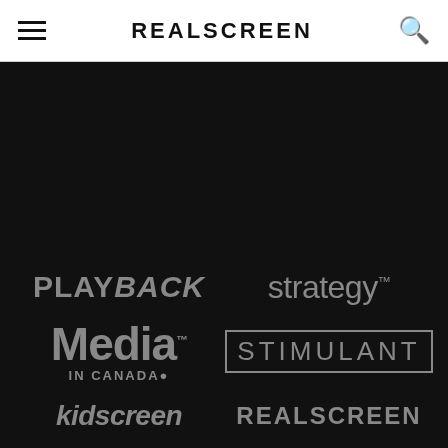REALSCREEN
[Figure (logo): Brunico company logo — rounded rectangle dark grey box with 'brunico.' text in grey]
[Figure (logo): PLAYBACK logo in bold italic uppercase grey text]
[Figure (logo): strategy logo in grey sans-serif with trademark symbol]
[Figure (logo): Media in Canada logo in large bold grey font with trademark]
[Figure (logo): STIMULANT logo in grey uppercase letters with outline box]
[Figure (logo): kidscreen logo in bold italic grey]
[Figure (logo): REALSCREEN logo in bold uppercase grey]